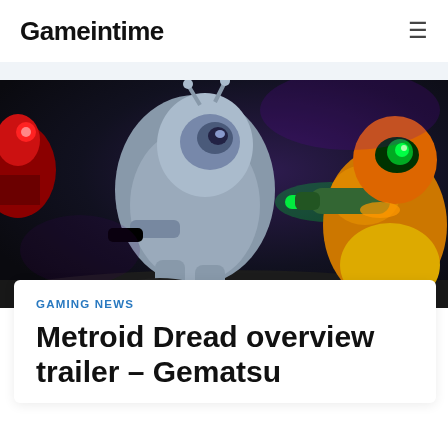Gameintime
[Figure (screenshot): Screenshot from Metroid Dread showing Samus in orange and yellow armor firing a green beam at a silver robotic enemy (EMMI), with dark cavern background]
GAMING NEWS
Metroid Dread overview trailer – Gematsu